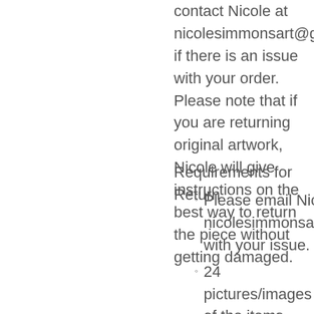contact Nicole at nicolesimmonsart@gmail.com if there is an issue with your order. Please note that if you are returning original artwork, Nicole will give instructions on the best way to return the piece without getting damaged.
Requirements for Return
Please email Nicole at nicolesimmonsart@gmail.com with your issue.
24 pictures/images of the items being returned. If the item is defective, please make sure to document the area of defect and photograph it as well as the piece or